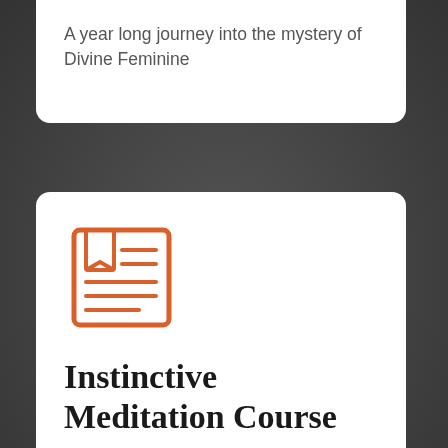A year long journey into the mystery of Divine Feminine
[Figure (illustration): Orange/red line-art icon of a document or article with a bookmark tab and horizontal text lines]
Instinctive Meditation Course
Start with our Foundations of Instinctive Meditation course that will change your life.